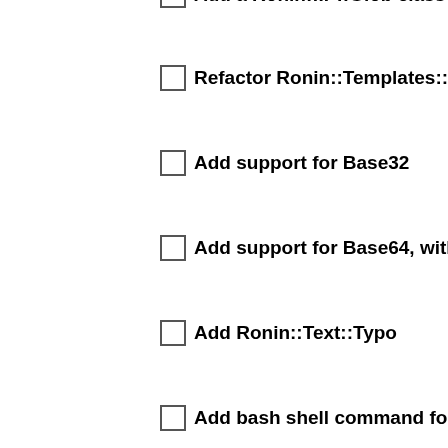Add a Ronin::IP::Glob class
Refactor Ronin::Templates::Erb to Ronin::Text::ERB
Add support for Base32
Add support for Base64, with a custom table
Add Ronin::Text::Typo
Add bash shell command formatting methods to ro
Add helper methods for converting between ASCII a
Add Ronin::Network::DNS::Resolver
Add dns_record(type, name) method to Ronin::Netw
Add dns_mx(name), dns_cname(name), dns_txt(na
Add a basic connect() port scanner method/class to
Add a method for generating our own self-signed c
Allow configuring the ssl_version in Ronin::Network